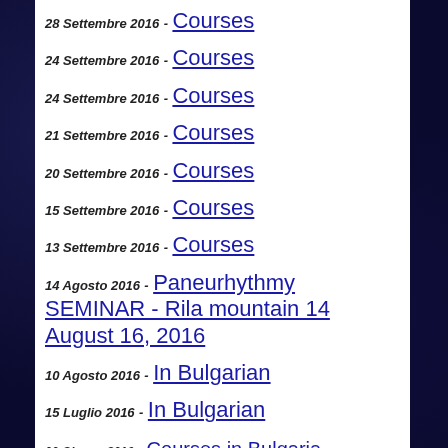28 Settembre 2016 - Courses
24 Settembre 2016 - Courses
24 Settembre 2016 - Courses
21 Settembre 2016 - Courses
20 Settembre 2016 - Courses
15 Settembre 2016 - Courses
13 Settembre 2016 - Courses
14 Agosto 2016 - Paneurhythmy SEMINAR - Rila mountain 14 August 16, 2016
10 Agosto 2016 - In Bulgarian
15 Luglio 2016 - In Bulgarian
Courses in Bulgaria